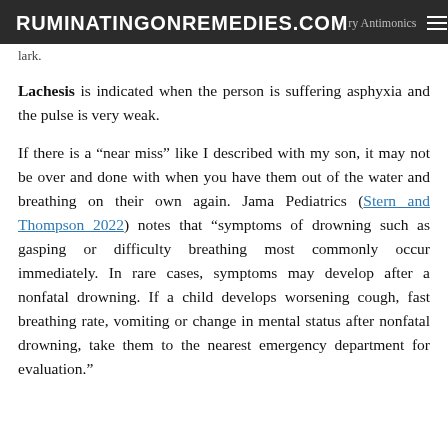RUMINATINGONREMEDIES.COM
lark.
Lachesis is indicated when the person is suffering asphyxia and the pulse is very weak.
If there is a “near miss” like I described with my son, it may not be over and done with when you have them out of the water and breathing on their own again. Jama Pediatrics (Stern and Thompson 2022) notes that “symptoms of drowning such as gasping or difficulty breathing most commonly occur immediately. In rare cases, symptoms may develop after a nonfatal drowning. If a child develops worsening cough, fast breathing rate, vomiting or change in mental status after nonfatal drowning, take them to the nearest emergency department for evaluation.”
...